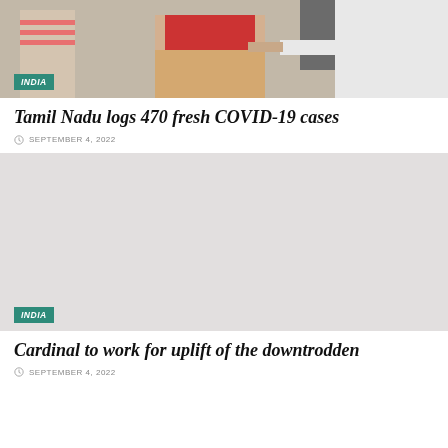[Figure (photo): Photograph showing people at what appears to be a COVID-19 vaccination site in India; a woman in a saree is receiving an injection from a healthcare worker in white clothing, another person stands nearby]
INDIA
Tamil Nadu logs 470 fresh COVID-19 cases
SEPTEMBER 4, 2022
[Figure (photo): Light grey placeholder image for India article about Cardinal]
INDIA
Cardinal to work for uplift of the downtrodden
SEPTEMBER 4, 2022